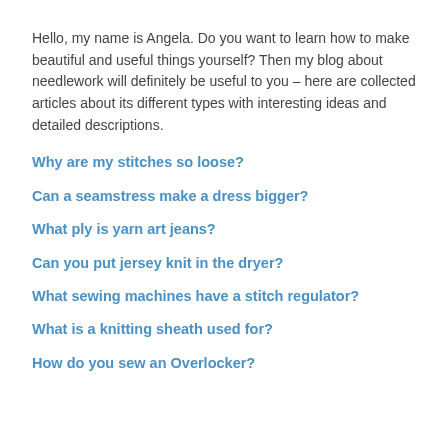Hello, my name is Angela. Do you want to learn how to make beautiful and useful things yourself? Then my blog about needlework will definitely be useful to you – here are collected articles about its different types with interesting ideas and detailed descriptions.
Why are my stitches so loose?
Can a seamstress make a dress bigger?
What ply is yarn art jeans?
Can you put jersey knit in the dryer?
What sewing machines have a stitch regulator?
What is a knitting sheath used for?
How do you sew an Overlocker?